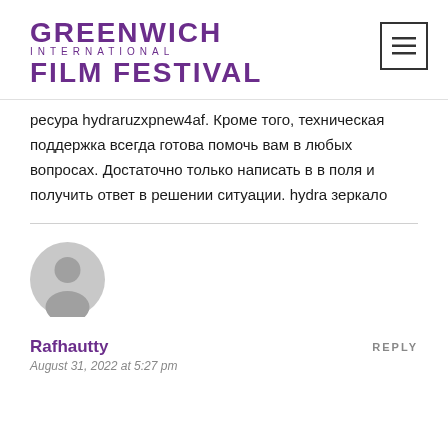GREENWICH INTERNATIONAL FILM FESTIVAL
ресура hydraruzxpnew4af. Кроме того, техническая поддержка всегда готова помочь вам в любых вопросах. Достаточно только написать в в поля и получить ответ в решении ситуации. hydra зеркало
[Figure (illustration): Generic user avatar - grey circle with person silhouette]
Rafhautty
August 31, 2022 at 5:27 pm